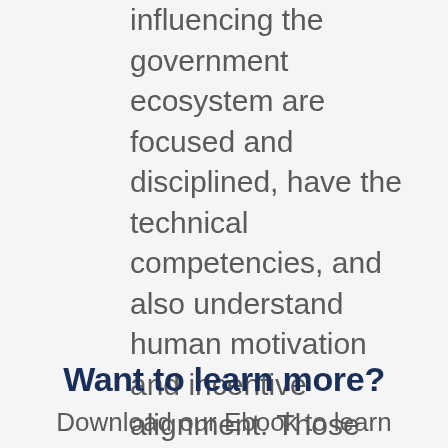influencing the government ecosystem are focused and disciplined, have the technical competencies, and also understand human motivation and incentive alignment. Those leaders are most likely to succeed at 1) maximizing the value their agency obtains from its data and 2) leaving a legacy of positive impact for public good.
Want to learn more?
Download our Ebook to learn